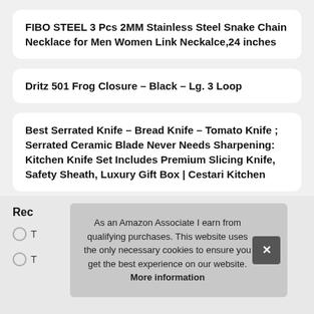FIBO STEEL 3 Pcs 2MM Stainless Steel Snake Chain Necklace for Men Women Link Neckalce,24 inches
Dritz 501 Frog Closure – Black – Lg. 3 Loop
Best Serrated Knife – Bread Knife – Tomato Knife ; Serrated Ceramic Blade Never Needs Sharpening: Kitchen Knife Set Includes Premium Slicing Knife, Safety Sheath, Luxury Gift Box | Cestari Kitchen
Rec
T
T
As an Amazon Associate I earn from qualifying purchases. This website uses the only necessary cookies to ensure you get the best experience on our website. More information